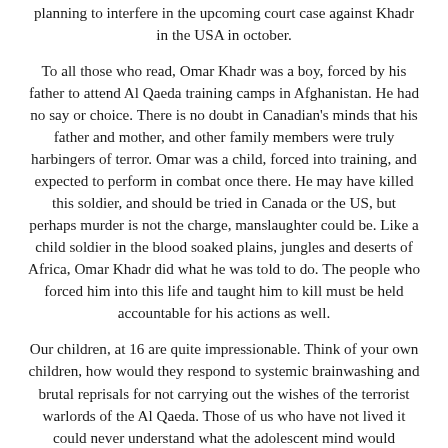planning to interfere in the upcoming court case against Khadr in the USA in october.
To all those who read, Omar Khadr was a boy, forced by his father to attend Al Qaeda training camps in Afghanistan. He had no say or choice. There is no doubt in Canadian's minds that his father and mother, and other family members were truly harbingers of terror. Omar was a child, forced into training, and expected to perform in combat once there. He may have killed this soldier, and should be tried in Canada or the US, but perhaps murder is not the charge, manslaughter could be. Like a child soldier in the blood soaked plains, jungles and deserts of Africa, Omar Khadr did what he was told to do. The people who forced him into this life and taught him to kill must be held accountable for his actions as well.
Our children, at 16 are quite impressionable. Think of your own children, how would they respond to systemic brainwashing and brutal reprisals for not carrying out the wishes of the terrorist warlords of the Al Qaeda. Those of us who have not lived it could never understand what the adolescent mind would succumb to such intense psychological and physical stress and conditioning. Then to subject this 'Child Of Guantanamo' to brutally U.S.